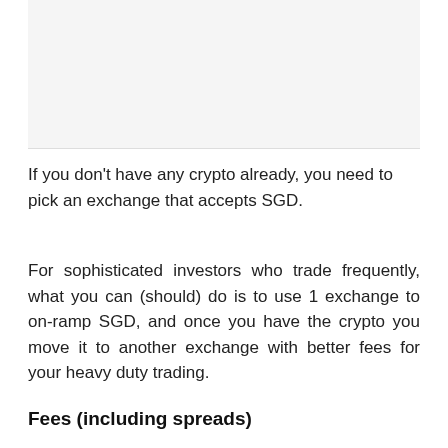[Figure (other): Image placeholder at the top of the page, light gray background]
If you don't have any crypto already, you need to pick an exchange that accepts SGD.
For sophisticated investors who trade frequently, what you can (should) do is to use 1 exchange to on-ramp SGD, and once you have the crypto you move it to another exchange with better fees for your heavy duty trading.
Fees (including spreads)